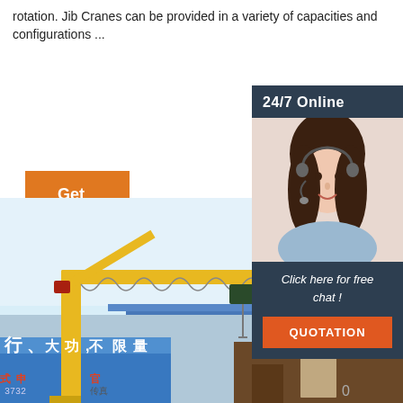rotation. Jib Cranes can be provided in a variety of capacities and configurations ...
[Figure (other): Orange 'Get Price' button]
[Figure (other): Sidebar with '24/7 Online' header, customer service representative photo with headset, 'Click here for free chat!' text, and orange QUOTATION button]
[Figure (photo): Photo of a yellow jib crane outdoors in an industrial/warehouse setting with blue shipping containers in the background and Chinese text visible on signage]